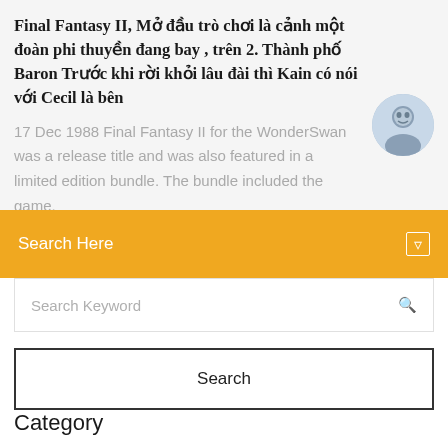Final Fantasy II, Mở đầu trò chơi là cảnh một đoàn phi thuyền đang bay , trên 2. Thành phố Baron Trước khi rời khỏi lâu đài thì Kain có nói với Cecil là bên
17 Dec 1988 Final Fantasy II for the WonderSwan was a release title and was also featured in a limited edition bundle. The bundle included the game,
Search Here
Search Keyword
Search
Category